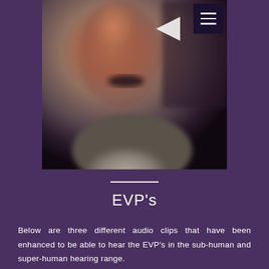[Figure (photo): Blurred photograph of a person wearing a grey sweater, taken indoors with a dark background]
EVP's
Below are three different audio clips that have been enhanced to be able to hear the EVP's in the sub-human and super-human hearing range.